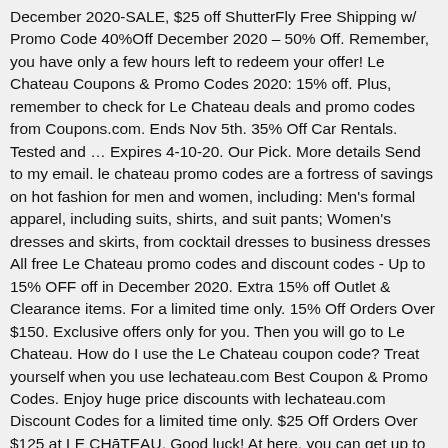December 2020-SALE, $25 off ShutterFly Free Shipping w/ Promo Code 40%Off December 2020 – 50% Off. Remember, you have only a few hours left to redeem your offer! Le Chateau Coupons & Promo Codes 2020: 15% off. Plus, remember to check for Le Chateau deals and promo codes from Coupons.com. Ends Nov 5th. 35% Off Car Rentals. Tested and … Expires 4-10-20. Our Pick. More details Send to my email. le chateau promo codes are a fortress of savings on hot fashion for men and women, including: Men's formal apparel, including suits, shirts, and suit pants; Women's dresses and skirts, from cocktail dresses to business dresses All free Le Chateau promo codes and discount codes - Up to 15% OFF off in December 2020. Extra 15% off Outlet & Clearance items. For a limited time only. 15% Off Orders Over $150. Exclusive offers only for you. Then you will go to Le Chateau. How do I use the Le Chateau coupon code? Treat yourself when you use lechateau.com Best Coupon & Promo Codes. Enjoy huge price discounts with lechateau.com Discount Codes for a limited time only. $25 Off Orders Over $125 at LE CHāTEAU. Good luck! At here, you can get up to 90% off your orders by using Le